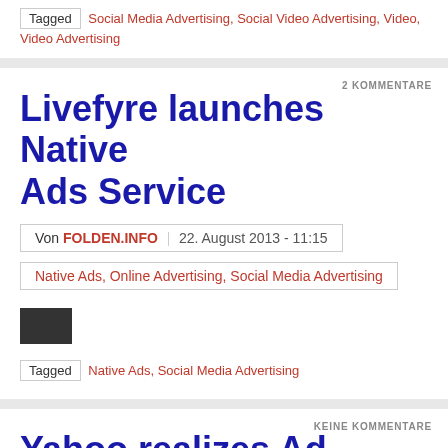Tagged  Social Media Advertising, Social Video Advertising, Video, Video Advertising
2 KOMMENTARE
Livefyre launches Native Ads Service
Von FOLDEN.INFO  22. August 2013 - 11:15
Native Ads, Online Advertising, Social Media Advertising
[Figure (photo): Dark thumbnail image placeholder]
Tagged  Native Ads, Social Media Advertising
KEINE KOMMENTARE
Yahoo realizes Ad Targeting